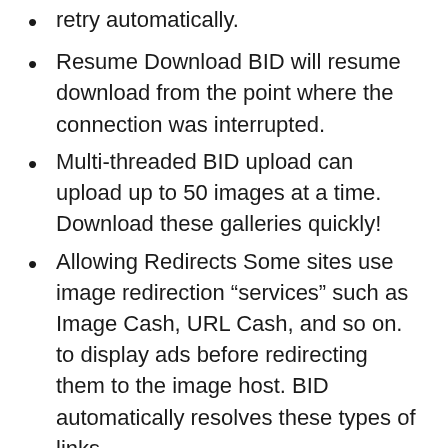Retry automatically.
Resume Download BID will resume download from the point where the connection was interrupted.
Multi-threaded BID upload can upload up to 50 images at a time. Download these galleries quickly!
Allowing Redirects Some sites use image redirection “services” such as Image Cash, URL Cash, and so on. to display ads before redirecting them to the image host. BID automatically resolves these types of links.
BID to remove filename will fetch the correct filename from image hosts, encoding filenames (where possible) such as image revenue, image fan.